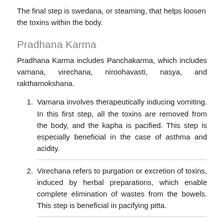The final step is swedana, or steaming, that helps loosen the toxins within the body.
Pradhana Karma
Pradhana Karma includes Panchakarma, which includes vamana, virechana, niroohavasti, nasya, and rakthamokshana.
Vamana involves therapeutically inducing vomiting. In this first step, all the toxins are removed from the body, and the kapha is pacified. This step is especially beneficial in the case of asthma and acidity.
Virechana refers to purgation or excretion of toxins, induced by herbal preparations, which enable complete elimination of wastes from the bowels. This step is beneficial in pacifying pitta.
Niroohavasti is a medicated enema that is administered on an empty stomach. This step pacifies the vata. Specific pre-treatments such as abhyanga and steaming help simplify...